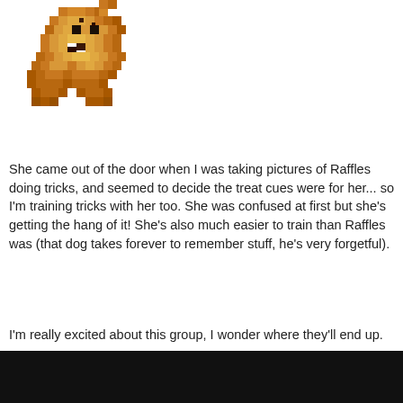[Figure (illustration): Pixel art illustration of a small fluffy brown dog or bear-like creature sitting, rendered in an 8-bit pixel style with warm orange-brown tones.]
She came out of the door when I was taking pictures of Raffles doing tricks, and seemed to decide the treat cues were for her... so I'm training tricks with her too. She was confused at first but she's getting the hang of it! She's also much easier to train than Raffles was (that dog takes forever to remember stuff, he's very forgetful).
I'm really excited about this group, I wonder where they'll end up.
Bard said:
Raffles and Truffle are my faves, they're so cute ;; I love how much personality they have, this was super fun to read
Thank you! I love them too, they're extra expressive and their personalities are very distinctive, you're right! 🙂 I'm glad you liked reading it.
lohh